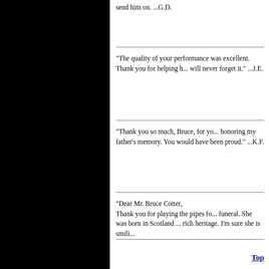send him on.  ...G.D.
"The quality of your performance was excellent. Thank you for helping h... will never forget it." ...J.E.
"Thank you so much, Bruce, for yo... honoring my father's memory. You would have been proud." ...K.F.
"Dear Mr. Bruce Cotter, Thank you for playing the pipes fo... funeral. She was born in Scotland ... rich heritage. I'm sure she is smili...
Top